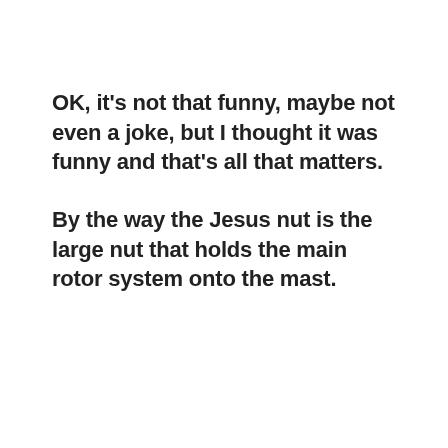OK, it's not that funny, maybe not even a joke, but I thought it was funny and that's all that matters.
By the way the Jesus nut is the large nut that holds the main rotor system onto the mast.